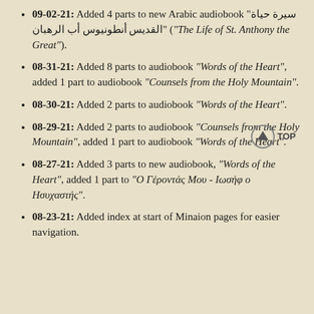09-02-21: Added 4 parts to new Arabic audiobook "سيرة حياة القديس أنطونيوس أب الرهبان" ("The Life of St. Anthony the Great").
08-31-21: Added 8 parts to audiobook "Words of the Heart", added 1 part to audiobook "Counsels from the Holy Mountain".
08-30-21: Added 2 parts to audiobook "Words of the Heart".
08-29-21: Added 2 parts to audiobook "Counsels from the Holy Mountain", added 1 part to audiobook "Words of the Heart".
08-27-21: Added 3 parts to new audiobook, "Words of the Heart", added 1 part to "Ο Γέροντάς Μου - Ιωσήφ ο Ησυχαστής".
08-23-21: Added index at start of Minaion pages for easier navigation.